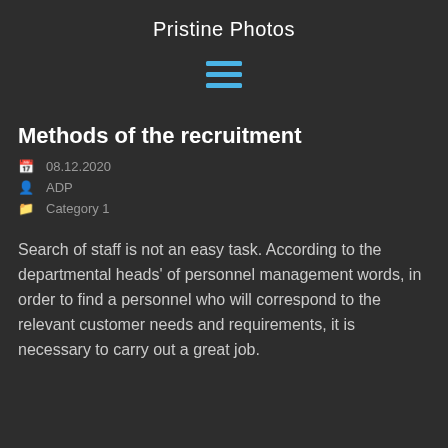Pristine Photos
[Figure (other): Hamburger menu icon with three horizontal blue lines]
Methods of the recruitment
08.12.2020
ADP
Category 1
Search of staff is not an easy task. According to the departmental heads' of personnel management words, in order to find a personnel who will correspond to the relevant customer needs and requirements, it is necessary to carry out a great job.